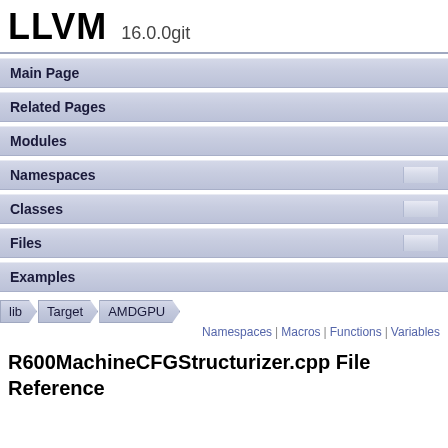LLVM 16.0.0git
Main Page
Related Pages
Modules
Namespaces
Classes
Files
Examples
lib > Target > AMDGPU
Namespaces | Macros | Functions | Variables
R600MachineCFGStructurizer.cpp File Reference